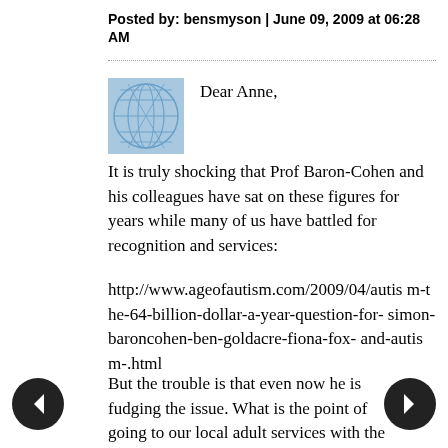Posted by: bensmyson | June 09, 2009 at 06:28 AM
[Figure (illustration): Blue globe/network avatar icon]
Dear Anne,
It is truly shocking that Prof Baron-Cohen and his colleagues have sat on these figures for years while many of us have battled for recognition and services:
http://www.ageofautism.com/2009/04/autism-the-64-billion-dollar-a-year-question-for-simon-baroncohen-ben-goldacre-fiona-fox-and-autism-.html
But the trouble is that even now he is fudging the issue. What is the point of going to our local adult services with the message that it has always been like this, when until recently the data had not even come out? It should have...